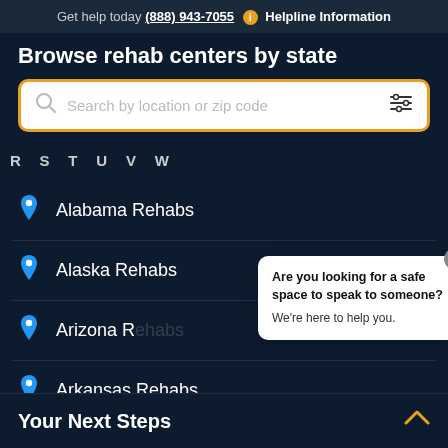Get help today (888) 943-7055 ℹ Helpline Information
Browse rehab centers by state
[Figure (screenshot): Search input box with placeholder 'Search by location or zip code', yellow border, magnifying glass icon on left, filter/sliders icon on right]
R  S  T  U  V  W
Alabama Rehabs
Alaska Rehabs
Arizona Rehabs
Arkansas Rehabs
[Figure (illustration): Chat bubble overlay with text 'Are you looking for a safe space to speak to someone? We're here to help you.' with close button and avatar of woman with glasses]
Your Next Steps